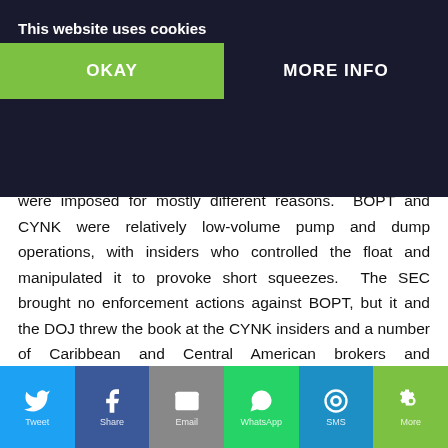for at the past few years), with that named BOPT, Cynk Tech Corp (CYNK), Riviera Tool Company (RIVT), Calitho Resources Group (CRGP), SWK... ...com Inc. (...), the halts were imposed for mostly different reasons.
This website uses cookies
OKAY
MORE INFO
were imposed for mostly different reasons. BOPT and CYNK were relatively low-volume pump and dump operations, with insiders who controlled the float and manipulated it to provoke short squeezes. The SEC brought no enforcement actions against BOPT, but it and the DOJ threw the book at the CYNK insiders and a number of Caribbean and Central American brokers and brokerages. Nearly all the perpetrators agreed to plead guilty to somewhat reduced charges, and settled with the SEC. Those who went to prison are still incarcerated. RIVT was an unusual case of mistaken identity. Early on the day it was halted, some traders wrongly believed the company had been acquired by Tesla. They bought with
[Figure (other): Social media share bar with Twitter, Facebook, Email, WhatsApp, SMS, and More buttons]